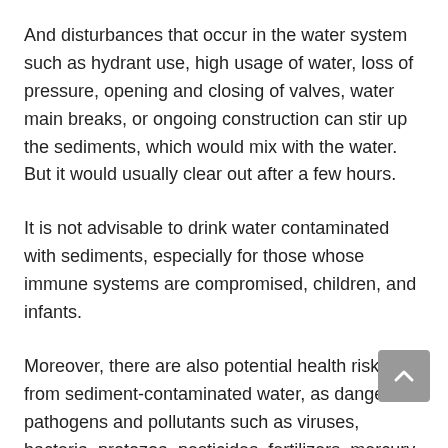And disturbances that occur in the water system such as hydrant use, high usage of water, loss of pressure, opening and closing of valves, water main breaks, or ongoing construction can stir up the sediments, which would mix with the water. But it would usually clear out after a few hours.
It is not advisable to drink water contaminated with sediments, especially for those whose immune systems are compromised, children, and infants.
Moreover, there are also potential health risks from sediment-contaminated water, as dangerous pathogens and pollutants such as viruses, bacteria, protozoa, pesticides, fertilizers, mercury, arsenic, etc, can attach to these particles.
In the filtration process of a refrigerator filter, sediments are